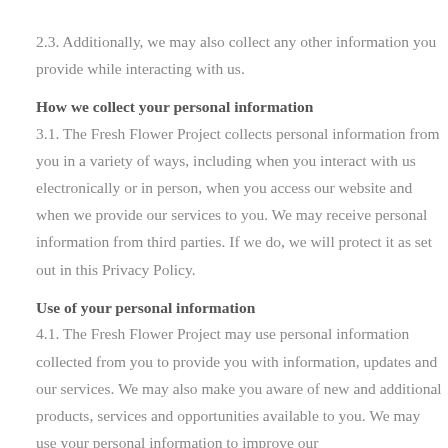2.3. Additionally, we may also collect any other information you provide while interacting with us.
How we collect your personal information
3.1. The Fresh Flower Project collects personal information from you in a variety of ways, including when you interact with us electronically or in person, when you access our website and when we provide our services to you. We may receive personal information from third parties. If we do, we will protect it as set out in this Privacy Policy.
Use of your personal information
4.1. The Fresh Flower Project may use personal information collected from you to provide you with information, updates and our services. We may also make you aware of new and additional products, services and opportunities available to you. We may use your personal information to improve our